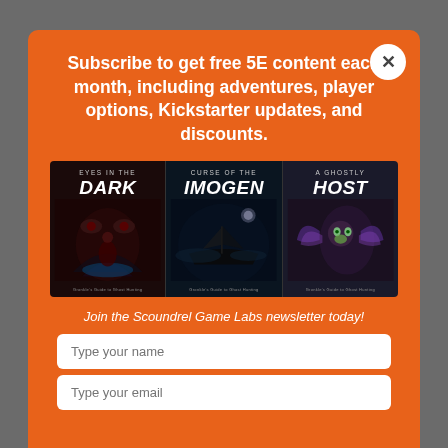Subscribe to get free 5E content each month, including adventures, player options, Kickstarter updates, and discounts.
[Figure (illustration): Three fantasy tabletop RPG adventure book covers side by side: 'Eyes in the Dark', 'Curse of the Imogen', and 'A Ghostly Host', all part of Gronkle's Guide to Ghost Hunting series.]
Join the Scoundrel Game Labs newsletter today!
Type your name
Type your email